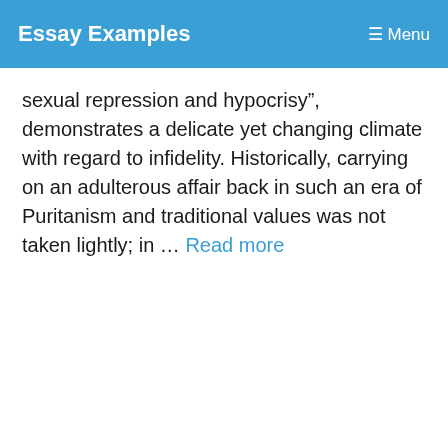Essay Examples  Menu
sexual repression and hypocrisy”, demonstrates a delicate yet changing climate with regard to infidelity. Historically, carrying on an adulterous affair back in such an era of Puritanism and traditional values was not taken lightly; in … Read more